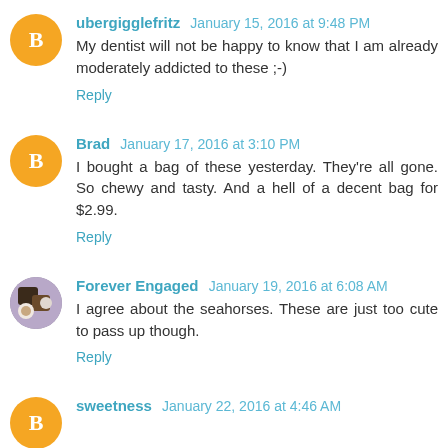ubergigglefritz January 15, 2016 at 9:48 PM
My dentist will not be happy to know that I am already moderately addicted to these ;-)
Reply
Brad January 17, 2016 at 3:10 PM
I bought a bag of these yesterday. They're all gone. So chewy and tasty. And a hell of a decent bag for $2.99.
Reply
Forever Engaged January 19, 2016 at 6:08 AM
I agree about the seahorses. These are just too cute to pass up though.
Reply
sweetness January 22, 2016 at 4:46 AM